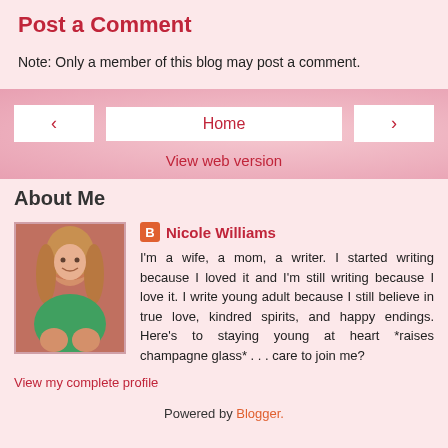Post a Comment
Note: Only a member of this blog may post a comment.
[Figure (other): Navigation bar with back arrow, Home button, forward arrow, and View web version link on a pink textured background]
About Me
[Figure (photo): Profile photo of Nicole Williams, a woman with long blonde hair wearing a green top, seated]
Nicole Williams
I'm a wife, a mom, a writer. I started writing because I loved it and I'm still writing because I love it. I write young adult because I still believe in true love, kindred spirits, and happy endings. Here's to staying young at heart *raises champagne glass* . . . care to join me?
View my complete profile
Powered by Blogger.